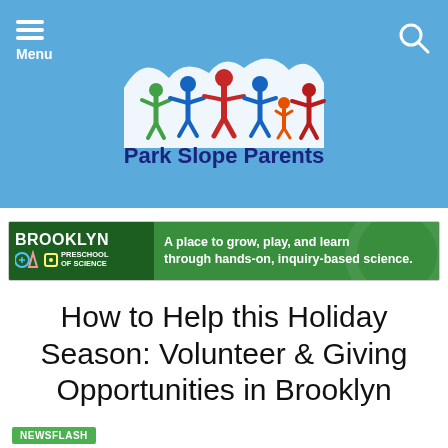Park Slope Parents
[Figure (logo): Park Slope Parents logo with colorful paper-doll figures holding hands above the site name]
[Figure (illustration): Brooklyn Preschool of Science advertisement banner: green background, logo with icons, text 'A place to grow, play, and learn through hands-on, inquiry-based science.']
How to Help this Holiday Season: Volunteer & Giving Opportunities in Brooklyn
NEWSFLASH
VOLUNTEER OPPORTUNITIES – LOCAL ORGANIZATIONS